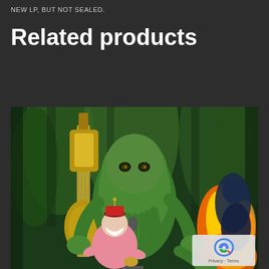NEW LP, BUT NOT SEALED.
Related products
[Figure (illustration): Cartoon illustration of Cthulhu-like monster with tentacles performing on stage with a microphone stand, surrounded by flames and green foliage. A masked figure in pink shirt and red fez hat sits nearby. An electric guitar is visible on the left.]
[Figure (logo): reCAPTCHA badge with Google logo showing Privacy and Terms links]